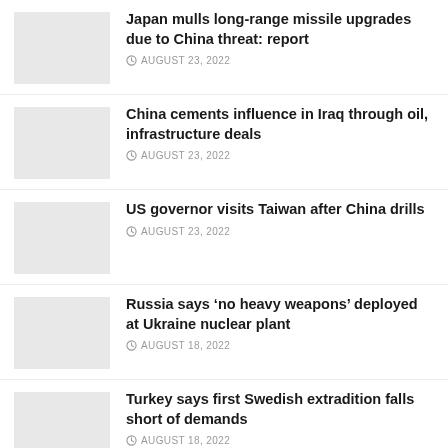[Figure (photo): Thumbnail placeholder for Japan missile article]
Japan mulls long-range missile upgrades due to China threat: report
AUGUST 23, 2022
[Figure (photo): Thumbnail placeholder for China Iraq article]
China cements influence in Iraq through oil, infrastructure deals
AUGUST 23, 2022
[Figure (photo): Thumbnail placeholder for US governor Taiwan article]
US governor visits Taiwan after China drills
AUGUST 23, 2022
[Figure (photo): Thumbnail placeholder for Russia nuclear plant article]
Russia says ‘no heavy weapons’ deployed at Ukraine nuclear plant
AUGUST 18, 2022
[Figure (photo): Thumbnail placeholder for Turkey Sweden article]
Turkey says first Swedish extradition falls short of demands
AUGUST 18, 2022